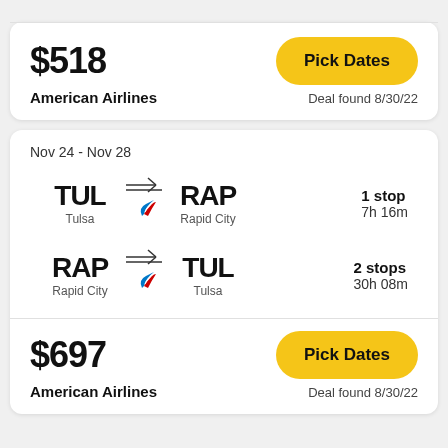$518
Pick Dates
American Airlines
Deal found 8/30/22
Nov 24 - Nov 28
TUL → RAP | Tulsa → Rapid City | 1 stop | 7h 16m
RAP → TUL | Rapid City → Tulsa | 2 stops | 30h 08m
$697
Pick Dates
American Airlines
Deal found 8/30/22